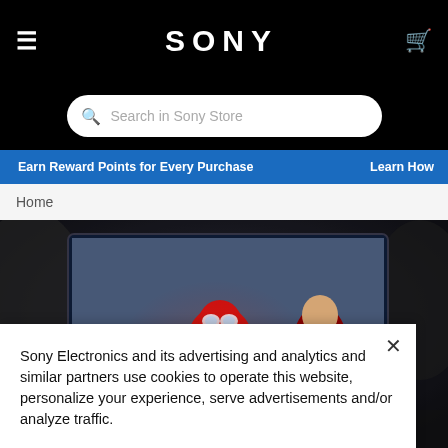SONY — navigation bar with hamburger menu and cart icon
Search in Sony Store
Earn Reward Points for Every Purchase   Learn How
Home
[Figure (photo): Hero banner showing Spider-Man and Doctor Strange on a Sony TV screen with a dark cinematic background]
Sony Electronics and its advertising and analytics and similar partners use cookies to operate this website, personalize your experience, serve advertisements and/or analyze traffic.